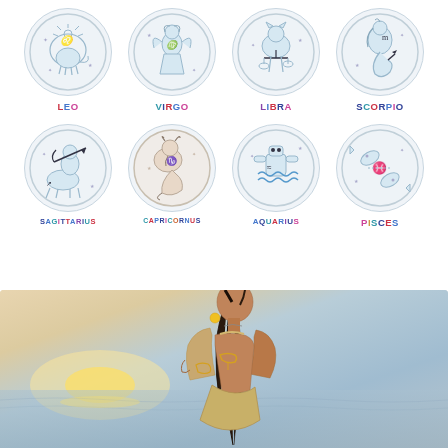[Figure (illustration): Eight zodiac sign illustrations in circular frames arranged in two rows of four. Row 1: Leo, Virgo, Libra, Scorpio. Row 2: Sagittarius, Capricornus, Aquarius, Pisces. Each circle contains a detailed blue-tinted doodle illustration of the zodiac symbol. Labels below each circle use mixed colorful lettering.]
[Figure (photo): A woman viewed from behind, standing at a beach at sunset. She has long dark hair, wears a backless outfit, has yellow earrings and gold metallic temporary tattoos on her back and arm. The background shows a pastel sky with soft sunset light over water.]